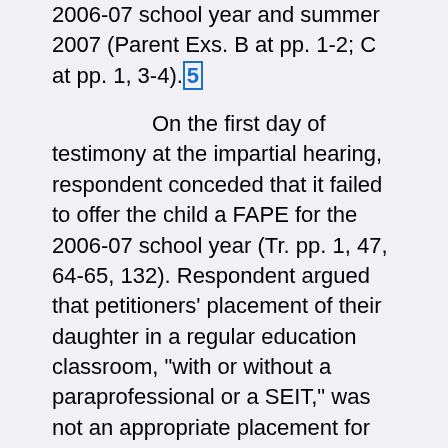2006-07 school year and summer 2007 (Parent Exs. B at pp. 1-2; C at pp. 1, 3-4).[5]
On the first day of testimony at the impartial hearing, respondent conceded that it failed to offer the child a FAPE for the 2006-07 school year (Tr. pp. 1, 47, 64-65, 132). Respondent argued that petitioners' placement of their daughter in a regular education classroom, "with or without a paraprofessional or a SEIT," was not an appropriate placement for the child, and therefore, petitioners' case under the second prong of the Burlington/Carter tuition reimbursement analysis must fail (Tr. pp. 47-48; see Tr. pp. 190-92, 271-80, 282-83, 285-89). Both parties presented testimonial and documentary evidence (Tr. pp. 1-726;